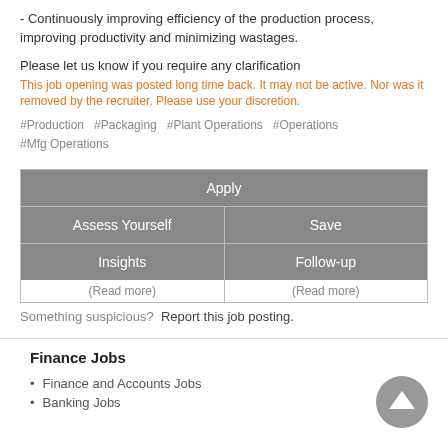- Continuously improving efficiency of the production process, improving productivity and minimizing wastages.
Please let us know if you require any clarification
This job opening was posted long time back. It may not be active. Nor was it removed by the recruiter. Please use your discretion.
#Production  #Packaging  #Plant Operations  #Operations  #Mfg Operations
| Apply |
| Assess Yourself | Save |
| Insights | Follow-up |
| (Read more) | (Read more) |
Something suspicious?  Report this job posting.
Finance Jobs
Finance and Accounts Jobs
Banking Jobs